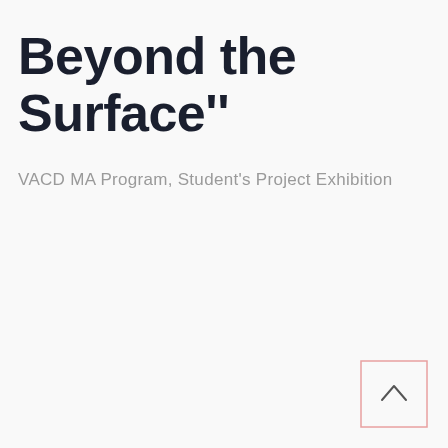Beyond the Surface''
VACD MA Program, Student's Project Exhibition
[Figure (other): A small square button with a pink/salmon border and an upward-pointing chevron arrow inside, positioned at the bottom-right corner of the page.]